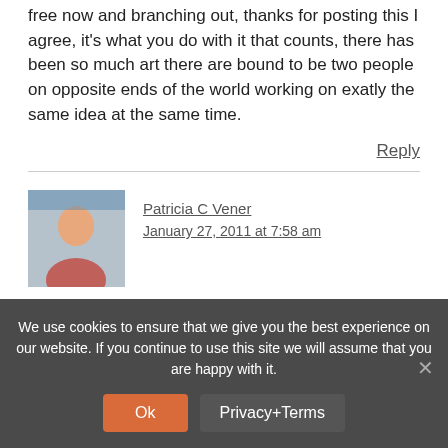free flow and branching out, thanks for posting this I agree, it's what you do with it that counts, there has been so much art there are bound to be two people on opposite ends of the world working on exatly the same idea at the same time.
Reply
Patricia C Vener
January 27, 2011 at 7:58 am
We use cookies to ensure that we give you the best experience on our website. If you continue to use this site we will assume that you are happy with it.
Ok   Privacy+Terms